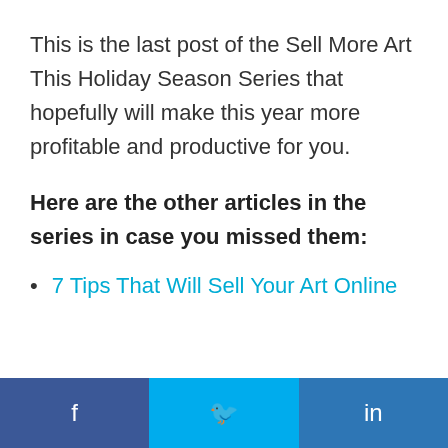This is the last post of the Sell More Art This Holiday Season Series that hopefully will make this year more profitable and productive for you.
Here are the other articles in the series in case you missed them:
7 Tips That Will Sell Your Art Online
f  Twitter  in